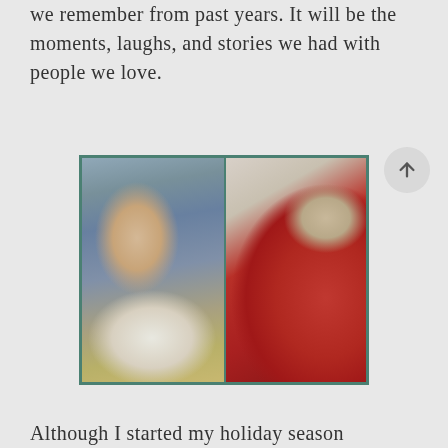we remember from past years. It will be the moments, laughs, and stories we had with people we love.
[Figure (photo): Two photos side by side in a teal-bordered frame: left shows a young girl in pajamas sitting in a car seat holding Hatchimals toy boxes and smiling; right shows a boy wearing glasses and a red patterned robe with his mouth open in surprise.]
Although I started my holiday season